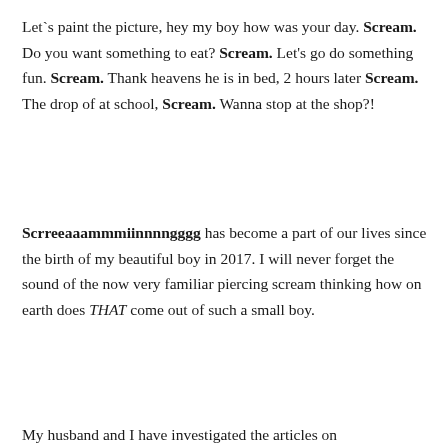Let`s paint the picture, hey my boy how was your day. Scream. Do you want something to eat? Scream. Let's go do something fun. Scream. Thank heavens he is in bed, 2 hours later Scream. The drop of at school, Scream. Wanna stop at the shop?!
Scrreeaaammmiinnnngggg has become a part of our lives since the birth of my beautiful boy in 2017. I will never forget the sound of the now very familiar piercing scream thinking how on earth does THAT come out of such a small boy.
My husband and I have investigated the articles on